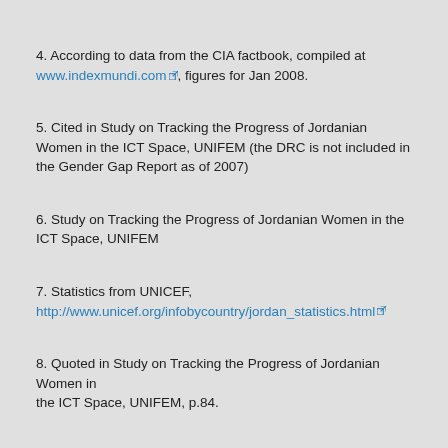4. According to data from the CIA factbook, compiled at www.indexmundi.com, figures for Jan 2008.
5. Cited in Study on Tracking the Progress of Jordanian Women in the ICT Space, UNIFEM (the DRC is not included in the Gender Gap Report as of 2007)
6. Study on Tracking the Progress of Jordanian Women in the ICT Space, UNIFEM
7. Statistics from UNICEF, http://www.unicef.org/infobycountry/jordan_statistics.html
8. Quoted in Study on Tracking the Progress of Jordanian Women in the ICT Space, UNIFEM, p.84.